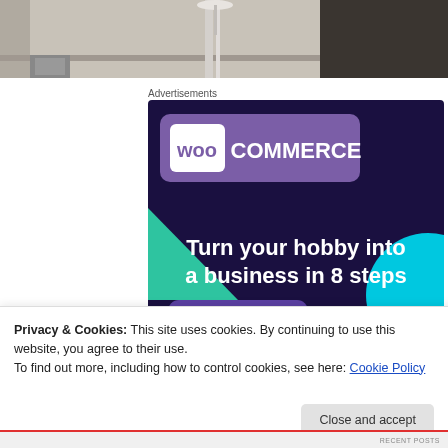[Figure (photo): Partial photo of a person in a store/shop background, cropped at top]
Advertisements
[Figure (illustration): WooCommerce advertisement banner with purple/dark background, WooCommerce logo at top, teal triangle shape on left, light blue circle on right, text: Turn your hobby into a business in 8 steps]
Privacy & Cookies: This site uses cookies. By continuing to use this website, you agree to their use.
To find out more, including how to control cookies, see here: Cookie Policy
Close and accept